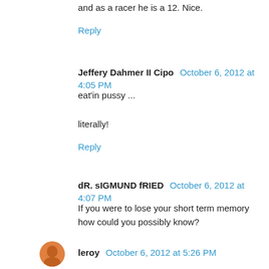and as a racer he is a 12. Nice.
Reply
Jeffery Dahmer II Cipo  October 6, 2012 at 4:05 PM
eat'in pussy ...
literally!
Reply
dR. sIGMUND fRIED  October 6, 2012 at 4:07 PM
If you were to lose your short term memory how could you possibly know?
That'll be $400.00.
Reply
leroy  October 6, 2012 at 5:26 PM